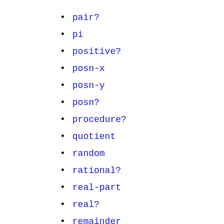pair?
pi
positive?
posn-x
posn-y
posn?
procedure?
quotient
random
rational?
real-part
real?
remainder